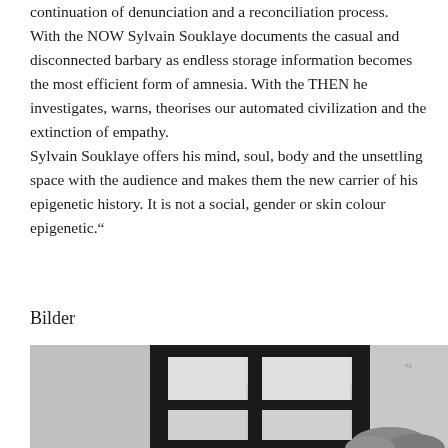continuation of denunciation and a reconciliation process. With the NOW Sylvain Souklaye documents the casual and disconnected barbary as endless storage information becomes the most efficient form of amnesia. With the THEN he investigates, warns, theorises our automated civilization and the extinction of empathy. Sylvain Souklaye offers his mind, soul, body and the unsettling space with the audience and makes them the new carrier of his epigenetic history. It is not a social, gender or skin colour epigenetic."
Bilder
[Figure (photo): Black and white photograph showing a building facade or structure with dark window frames or grid-like architecture visible, with some vegetation at the bottom right corner.]